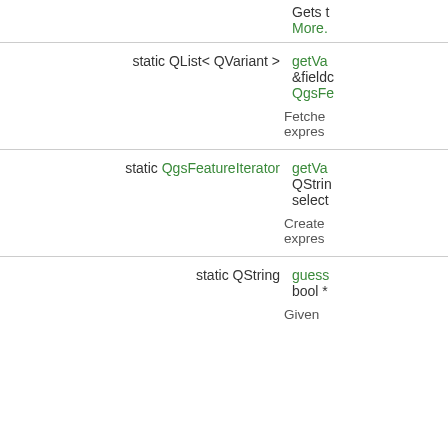Gets t
More.
static QList< QVariant > getVa &fieldc QgsFe
Fetche expres
static QgsFeatureIterator getVa QStrin select
Create expres
static QString guess bool *
Given